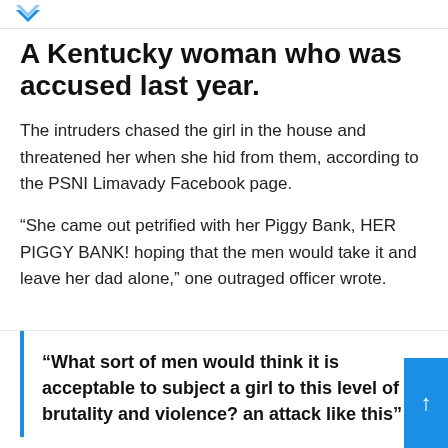A Kentucky woman who was accused last year.
The intruders chased the girl in the house and threatened her when she hid from them, according to the PSNI Limavady Facebook page.
“She came out petrified with her Piggy Bank, HER PIGGY BANK! hoping that the men would take it and leave her dad alone,” one outraged officer wrote.
“What sort of men would think it is acceptable to subject a girl to this level of brutality and violence? an attack like this”